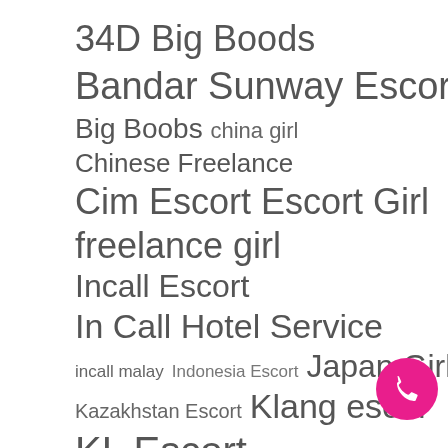34D Big Boods
Bandar Sunway Escort
Big Boobs  china girl
Chinese Freelance
Cim Escort  Escort Girl
freelance girl
Incall Escort
In Call Hotel Service
incall malay  Indonesia Escort  Japan Girl
Kazakhstan Escort  Klang escort
KL Escort